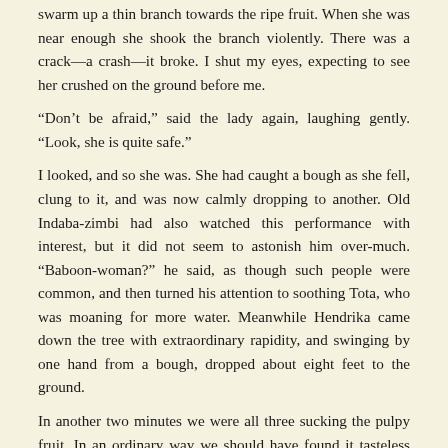swarm up a thin branch towards the ripe fruit. When she was near enough she shook the branch violently. There was a crack—a crash—it broke. I shut my eyes, expecting to see her crushed on the ground before me.

“Don’t be afraid,” said the lady again, laughing gently. “Look, she is quite safe.”

I looked, and so she was. She had caught a bough as she fell, clung to it, and was now calmly dropping to another. Old Indaba-zimbi had also watched this performance with interest, but it did not seem to astonish him over-much. “Baboon-woman?” he said, as though such people were common, and then turned his attention to soothing Tota, who was moaning for more water. Meanwhile Hendrika came down the tree with extraordinary rapidity, and swinging by one hand from a bough, dropped about eight feet to the ground.

In another two minutes we were all three sucking the pulpy fruit. In an ordinary way we should have found it tasteless enough: as it was I thought it the most delicious thing I had ever tasted. After three days spent without food or